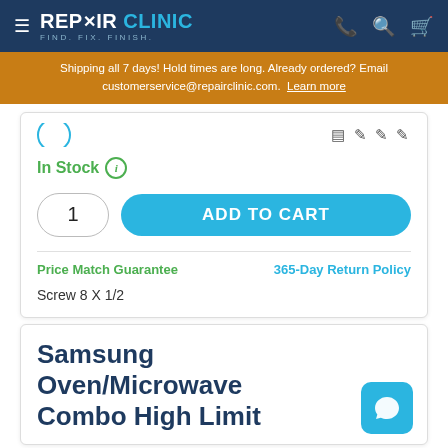REPAIR CLINIC — FIND. FIX. FINISH.
Shipping all 7 days! Hold times are long. Already ordered? Email customerservice@repairclinic.com. Learn more
In Stock
1 ADD TO CART
Price Match Guarantee
365-Day Return Policy
Screw 8 X 1/2
Samsung Oven/Microwave Combo High Limit